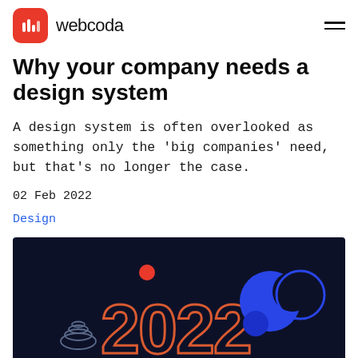webcoda
Why your company needs a design system
A design system is often overlooked as something only the 'big companies' need, but that's no longer the case.
02 Feb 2022
Design
[Figure (illustration): Dark navy background with orange/red outlined '2022' text, blue circles, a small red dot, and spiral shapes in blue-gray, decorative design system themed hero image.]